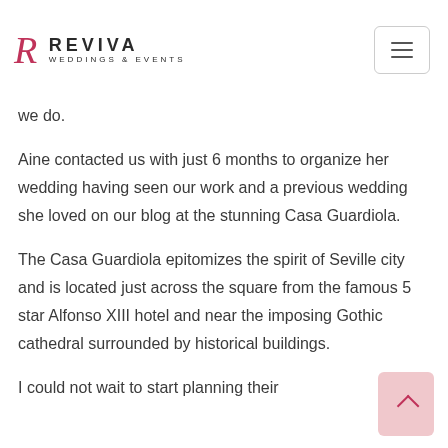REVIVA WEDDINGS & EVENTS
we do.
Aine contacted us with just 6 months to organize her wedding having seen our work and a previous wedding she loved on our blog at the stunning Casa Guardiola.
The Casa Guardiola epitomizes the spirit of Seville city and is located just across the square from the famous 5 star Alfonso XIII hotel and near the imposing Gothic cathedral surrounded by historical buildings.
I could not wait to start planning their